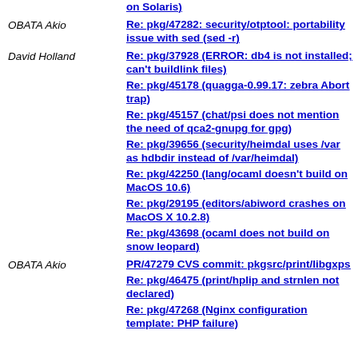on Solaris)
OBATA Akio | Re: pkg/47282: security/otptool: portability issue with sed (sed -r)
David Holland | Re: pkg/37928 (ERROR: db4 is not installed; can't buildlink files)
Re: pkg/45178 (quagga-0.99.17: zebra Abort trap)
Re: pkg/45157 (chat/psi does not mention the need of qca2-gnupg for gpg)
Re: pkg/39656 (security/heimdal uses /var as hdbdir instead of /var/heimdal)
Re: pkg/42250 (lang/ocaml doesn't build on MacOS 10.6)
Re: pkg/29195 (editors/abiword crashes on MacOS X 10.2.8)
Re: pkg/43698 (ocaml does not build on snow leopard)
OBATA Akio | PR/47279 CVS commit: pkgsrc/print/libgxps
Re: pkg/46475 (print/hplip and strnlen not declared)
Re: pkg/47268 (Nginx configuration template: PHP failure)